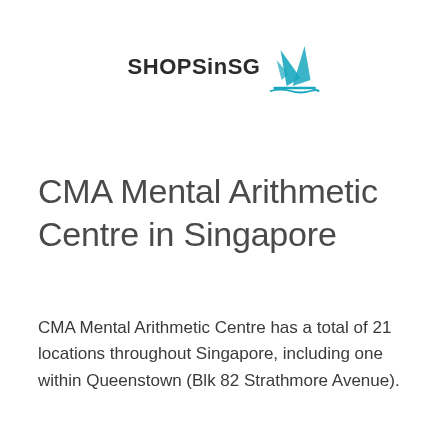[Figure (logo): SHOPSinSG logo with blue sailboat icon and dark text 'SHOPSinSG']
CMA Mental Arithmetic Centre in Singapore
CMA Mental Arithmetic Centre has a total of 21 locations throughout Singapore, including one within Queenstown (Blk 82 Strathmore Avenue).